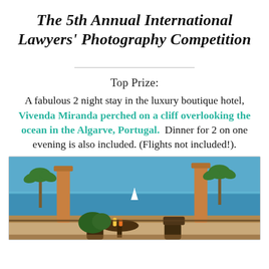The 5th Annual International Lawyers' Photography Competition
Top Prize:
A fabulous 2 night stay in the luxury boutique hotel, Vivenda Miranda perched on a cliff overlooking the ocean in the Algarve, Portugal. Dinner for 2 on one evening is also included. (Flights not included!).
[Figure (photo): Outdoor terrace of Vivenda Miranda hotel overlooking the ocean in the Algarve, Portugal, with wicker chairs, drinks, and palm trees in the background.]